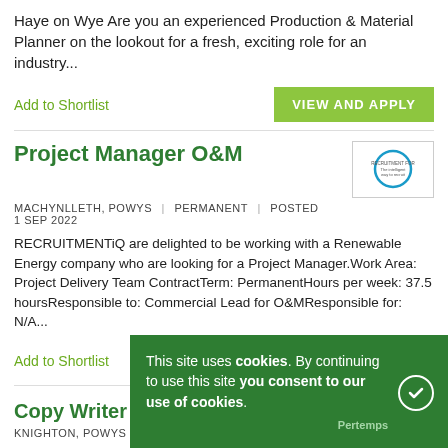Haye on Wye Are you an experienced Production & Material Planner on the lookout for a fresh, exciting role for an industry...
Add to Shortlist
VIEW AND APPLY
Project Manager O&M
MACHYNLLETH, POWYS | PERMANENT | POSTED 1 SEP 2022
RECRUITMENTiQ are delighted to be working with a Renewable Energy company who are looking for a Project Manager.Work Area: Project Delivery Team ContractTerm: PermanentHours per week: 37.5 hoursResponsible to: Commercial Lead for O&MResponsible for: N/A...
Add to Shortlist
VIEW AND APPLY
[Figure (logo): RECRUITMENTiQ circular logo with blue ring and grey text inside]
Copy Writer
KNIGHTON, POWYS | £28,000 to £32,000 |
This site uses cookies. By continuing to use this site you consent to our use of cookies.